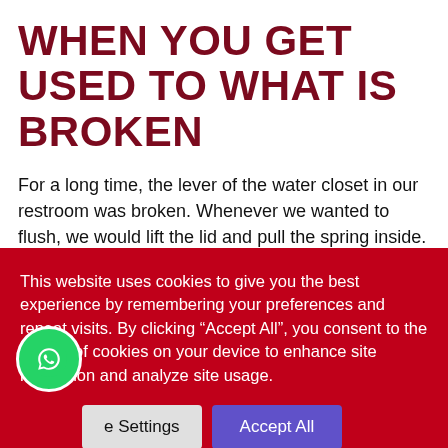WHEN YOU GET USED TO WHAT IS BROKEN
For a long time, the lever of the water closet in our restroom was broken. Whenever we wanted to flush, we would lift the lid and pull the spring inside.
Months later, I got a plumber to fix it for us. But this is what happened- I would still go into the restroom and lift up the lid to pull the spring. I would have pulled before I remember that it had
This website uses cookies to give you the best experience by remembering your preferences and repeat visits. By clicking “Accept All”, you consent to the storing of cookies on your device to enhance site navigation and analyze site usage.
Cookie Settings | Accept All